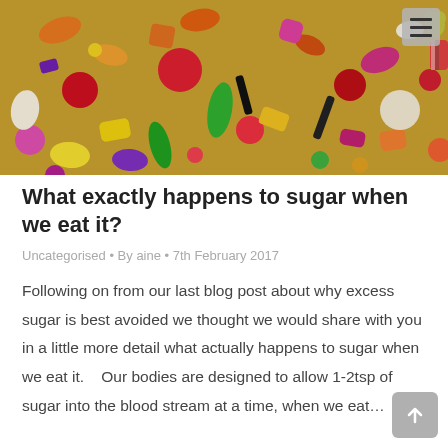[Figure (photo): Close-up photo of a colorful assortment of mixed candies and sweets — jellybeans, gummy bears, hard candies, licorice, and other confections in vivid red, orange, yellow, green, purple, pink, and black hues filling the entire frame.]
What exactly happens to sugar when we eat it?
Uncategorised • By aine • 7th February 2017
Following on from our last blog post about why excess sugar is best avoided we thought we would share with you in a little more detail what actually happens to sugar when we eat it.   Our bodies are designed to allow 1-2tsp of sugar into the blood stream at a time, when we eat…